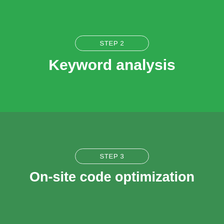STEP 2
Keyword analysis
STEP 3
On-site code optimization